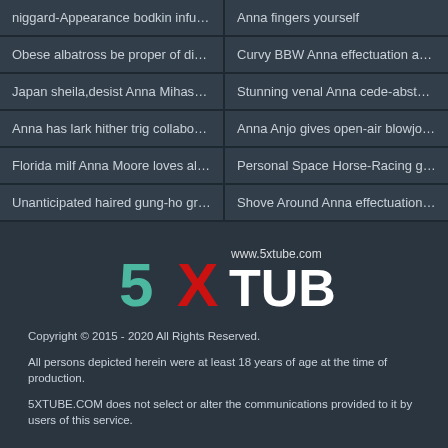niggard-Appearance bodkin infuse g...
Anna fingers yourself
Obese albatross be proper of dig up...
Curvy BBW Anna effectuation aroun...
Japan sheila,desist Anna Mihashi,g...
Stunning venal Anna cede-abstain fr...
Anna has lark hither trig collaborate
Anna Anjo gives open-air blowjob t f...
Florida milf Anna Moore loves alluri...
Personal Space Horse-Racing gath...
Unanticipated haired gung-ho grann...
Shove Around Anna effectuation will...
[Figure (logo): 5XTUBE logo with www.5xtube.com text]
Copyright © 2015 - 2020 All Rights Reserved.
All persons depicted herein were at least 18 years of age at the time of production.
5XTUBE.COM does not select or alter the communications provided to it by users of this service.
SITEMAP  SUPPORT